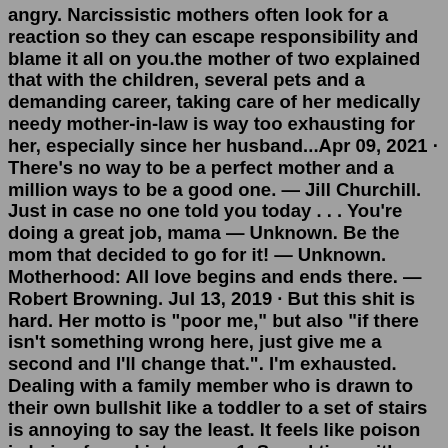angry. Narcissistic mothers often look for a reaction so they can escape responsibility and blame it all on you.the mother of two explained that with the children, several pets and a demanding career, taking care of her medically needy mother-in-law is way too exhausting for her, especially since her husband...Apr 09, 2021 · There's no way to be a perfect mother and a million ways to be a good one. — Jill Churchill. Just in case no one told you today . . . You're doing a great job, mama — Unknown. Be the mom that decided to go for it! — Unknown. Motherhood: All love begins and ends there. — Robert Browning. Jul 13, 2019 · But this shit is hard. Her motto is "poor me," but also "if there isn't something wrong here, just give me a second and I'll change that.". I'm exhausted. Dealing with a family member who is drawn to their own bullshit like a toddler to a set of stairs is annoying to say the least. It feels like poison is being forced into my ... 1. Spend time with your non-needy friends. Though your needy friend has likely taken a lot of your focus, take some time to reconnect with others.